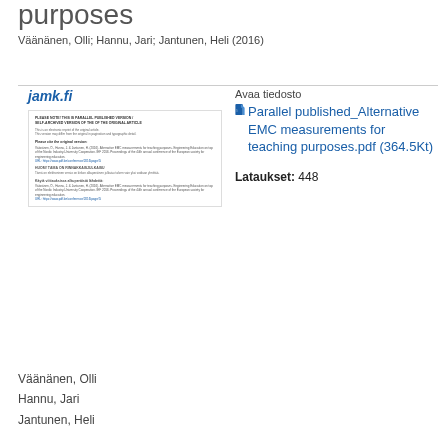purposes
Väänänen, Olli; Hannu, Jari; Jantunen, Heli (2016)
[Figure (illustration): Preview thumbnail of a document with jamk.fi logo and text content including parallel published version notice and citation information]
Avaa tiedosto
Parallel published_Alternative EMC measurements for teaching purposes.pdf (364.5Kt)
Lataukset: 448
Väänänen, Olli
Hannu, Jari
Jantunen, Heli